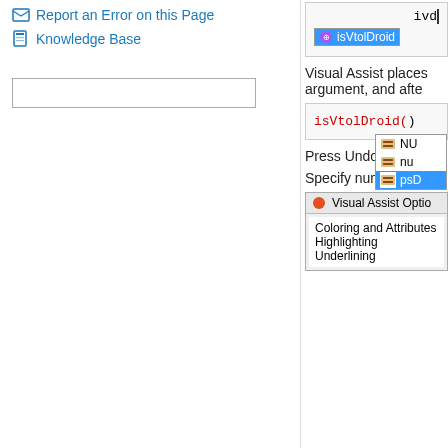Report an Error on this Page
Knowledge Base
[Figure (screenshot): Search input box (empty)]
[Figure (screenshot): Autocomplete showing 'ivd' typed, with 'isVtolDroid' suggestion highlighted in blue]
Visual Assist places argument, and afte
[Figure (screenshot): Code editor showing isVtolDroid() with autocomplete dropdown listing NU, nu, psD items]
Press Undo to rev
Specify number of
[Figure (screenshot): Visual Assist Options dialog showing Coloring and Attributes, Highlighting, Underlining]